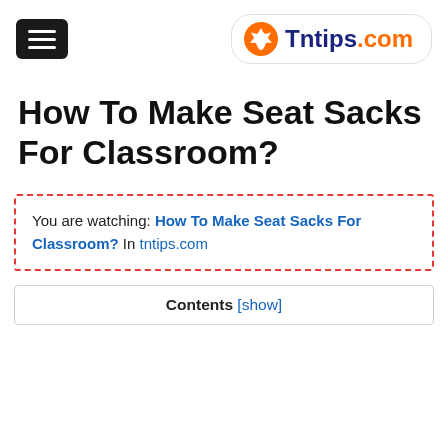Tntips.com
How To Make Seat Sacks For Classroom?
You are watching: How To Make Seat Sacks For Classroom? In tntips.com
Contents [show]